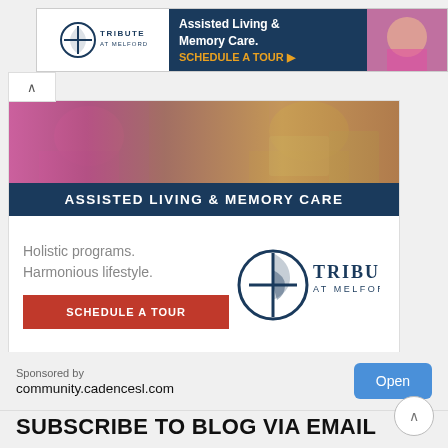[Figure (screenshot): Top banner advertisement for Tribute at Melford showing logo, 'Assisted Living & Memory Care. SCHEDULE A TOUR' text on dark blue background with elderly person photo on right]
[Figure (screenshot): Large advertisement for Tribute at Melford Assisted Living & Memory Care with photo strip, dark blue banner, tagline 'Holistic programs. Harmonious lifestyle.', red Schedule a Tour button, and Tribute at Melford logo]
Sponsored by
community.cadencesl.com
Open
SUBSCRIBE TO BLOG VIA EMAIL